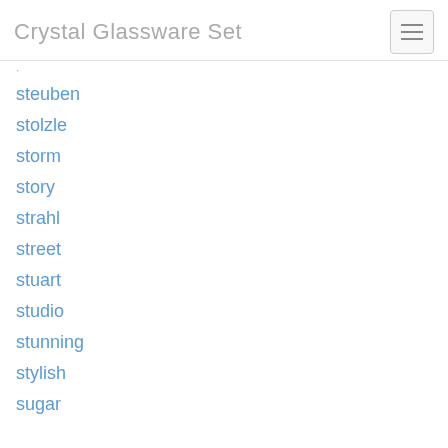Crystal Glassware Set
steuben
stolzle
storm
story
strahl
street
stuart
studio
stunning
stylish
sugar